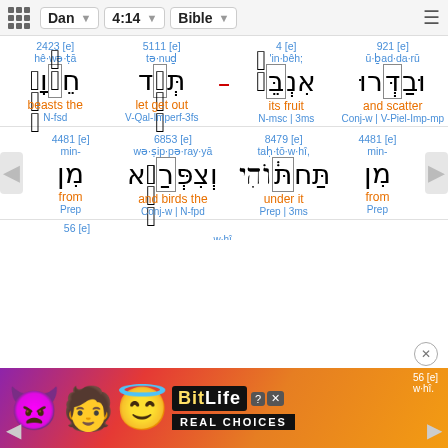Dan  4:14  Bible
| 2423 [e] | 5111 [e] | 4 [e] | 921 [e] |
| --- | --- | --- | --- |
| hê·wə·ṭā | tə·nuḏ | 'in·bêh; | ū·ḇad·da·rū |
| חֵ֗יוָתָ | תְּנֻ֑ד | אִנְבֵּה֙ | וּבַדְּרוּ |
| beasts the | let get out | its fruit | and scatter |
| N-fsd | V-Qal-Imperf-3fs | N-msc | 3ms | Conj-w | V-Piel-Imp-mp |
| 4481 [e] | 6853 [e] | 8479 [e] | 4481 [e] |
| --- | --- | --- | --- |
| min- | wə·ṣip·pə·ray·yā | taḥ·tō·w·hî, | min- |
| מִן | וְצִפְּרַיָּ֣א | תַּחְתּ֔וֹהִי | מִן |
| from | and birds the | under it | from |
| Prep | Conj-w | N-fpd | Prep | 3ms | Prep |
[Figure (screenshot): BitLife advertisement banner with emoji characters and 'REAL CHOICES' text]